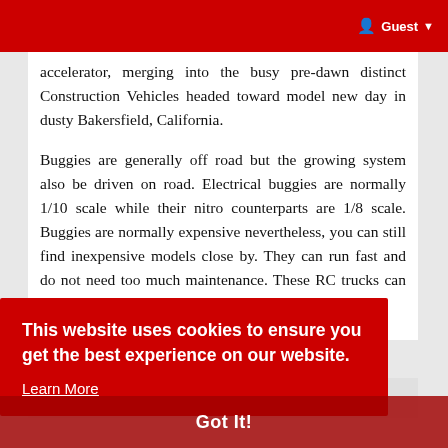Guest
accelerator, merging into the busy pre-dawn distinct Construction Vehicles headed toward model new day in dusty Bakersfield, California.
Buggies are generally off road but the growing system also be driven on road. Electrical buggies are normally 1/10 scale while their nitro counterparts are 1/8 scale. Buggies are normally expensive nevertheless, you can still find inexpensive models close by. They can run fast and do not need too much maintenance. These RC trucks can also do [partially obscured] ...in many Construction Vehicles...
This website uses cookies to ensure you get the best experience on our website.
Learn More
Got It!
Read more